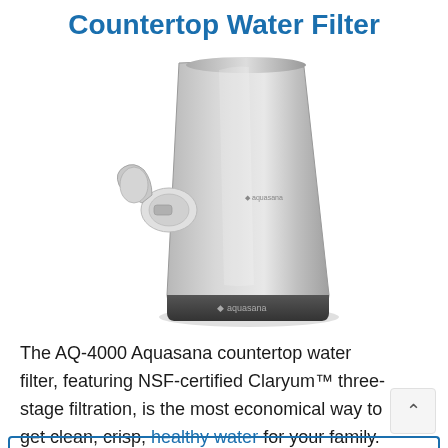Countertop Water Filter
[Figure (photo): Aquasana AQ-4000 countertop water filter unit — a silver/grey rectangular device with rounded top, a chrome diverter valve and faucet attachment on the left side, and a dark base with the Aquasana logo.]
The AQ-4000 Aquasana countertop water filter, featuring NSF-certified Claryum™ three-stage filtration, is the most economical way to get clean, crisp, healthy water for your family.